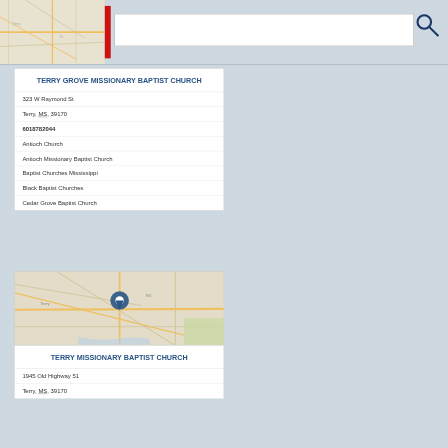[Figure (screenshot): Map search interface showing a map thumbnail on the left, a red cursor line, and a white search input box with a magnifying glass icon on the right]
TERRY GROVE MISSIONARY BAPTIST CHURCH
323 W Raymond St
Terry, MS, 39170
6018782044
Antioch Church
Antioch Missionary Baptist Church
Baptist Churches Mississippi
Black Baptist Churches
Cedar Grove Baptist Church
[Figure (map): Street map centered on Terry, MS with a blue location pin marker]
TERRY MISSIONARY BAPTIST CHURCH
1945 Old Highway 51
Terry, MS, 39170